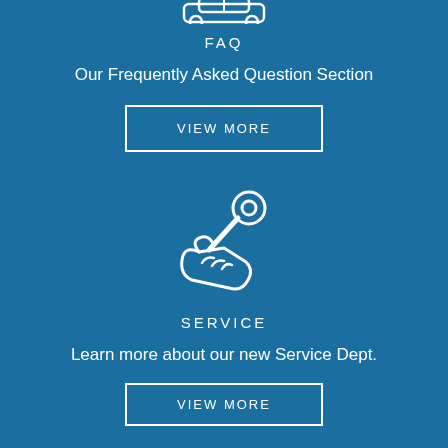[Figure (illustration): White outline icon of a car/vehicle, partially visible at top of page]
FAQ
Our Frequently Asked Question Section
VIEW MORE
[Figure (illustration): White outline icon of a hand holding a wrench (service/repair icon)]
SERVICE
Learn more about our new Service Dept.
VIEW MORE